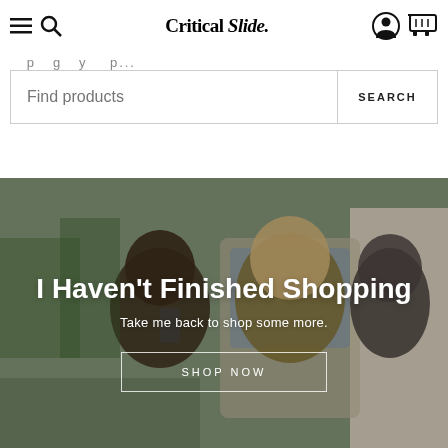Critical Slide — navigation bar with hamburger menu, search icon, logo, user icon, cart icon
...page not found... (partial text, partially cut off)
Find products / SEARCH
[Figure (photo): Three young people leaning out of a van window, outdoor setting, daytime]
I Haven't Finished Shopping
Take me back to shop some more.
SHOP NOW